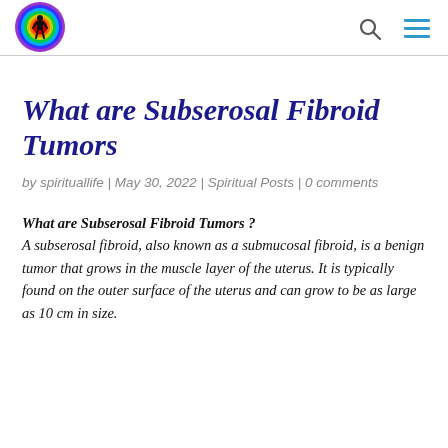[Figure (logo): Circular logo with rainbow/aura colors (purple, blue, green, yellow, red) surrounding a silhouette of a human figure in the center]
What are Subserosal Fibroid Tumors
by spirituallife | May 30, 2022 | Spiritual Posts | 0 comments
What are Subserosal Fibroid Tumors ? A subserosal fibroid, also known as a submucosal fibroid, is a benign tumor that grows in the muscle layer of the uterus. It is typically found on the outer surface of the uterus and can grow to be as large as 10 cm in size.